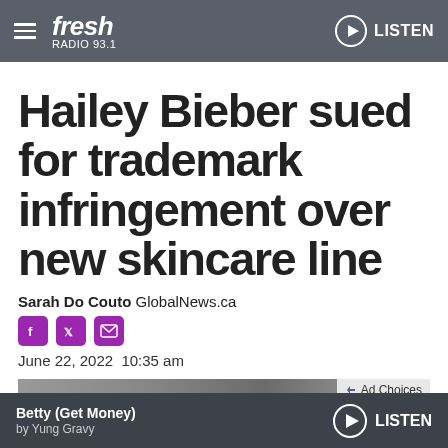Fresh Radio 93.1 | LISTEN
Hailey Bieber sued for trademark infringement over new skincare line
Sarah Do Couto GlobalNews.ca
June 22, 2022  10:35 am
[Figure (photo): Partial image of Hailey Bieber, cropped at bottom of content area]
Betty (Get Money) by Yung Gravy | LISTEN